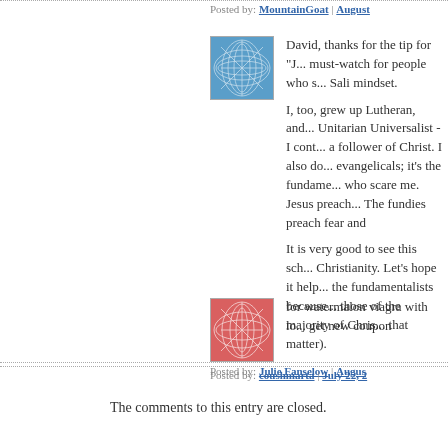Posted by: MountainGoat | August
[Figure (illustration): Blue abstract leaf/network pattern avatar image]
David, thanks for the tip for "J... must-watch for people who s... Sali mindset.

I, too, grew up Lutheran, and... Unitarian Universalist - I cont... a follower of Christ. I also do... evangelicals; it's the fundame... who scare me. Jesus preach... The fundies preach fear and...

It is very good to see this sch... Christianity. Let's hope it help... the fundamentalists because... those of the majority of Chris... that matter).
Posted by: Julie Fanselow | Augus...
[Figure (illustration): Red/pink abstract leaf/network pattern avatar image]
for watermalon viagra with lo... get new coupon
Posted by: coushmarta | July 22, 2...
The comments to this entry are closed.